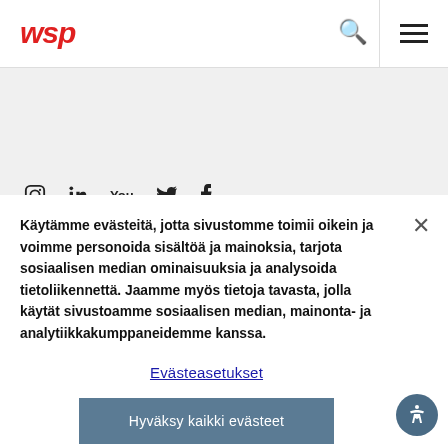[Figure (logo): WSP company logo in red italic text]
[Figure (screenshot): Gray header band area with social media icons (Instagram, LinkedIn, YouTube, Twitter, Facebook)]
Käytämme evästeitä, jotta sivustomme toimii oikein ja voimme personoida sisältöä ja mainoksia, tarjota sosiaalisen median ominaisuuksia ja analysoida tietoliikennettä. Jaamme myös tietoja tavasta, jolla käytät sivustoamme sosiaalisen median, mainonta- ja analytiikkakumppaneidemme kanssa.
Evästeasetukset
Hyväksy kaikki evästeet